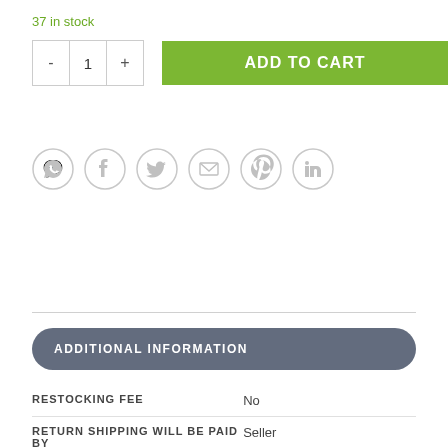37 in stock
[Figure (other): Quantity selector with minus, 1, plus buttons and green ADD TO CART button]
[Figure (other): Social share icons row: WhatsApp, Facebook, Twitter, Email, Pinterest, LinkedIn]
ADDITIONAL INFORMATION
|  |  |
| --- | --- |
| RESTOCKING FEE | No |
| RETURN SHIPPING WILL BE PAID BY | Seller |